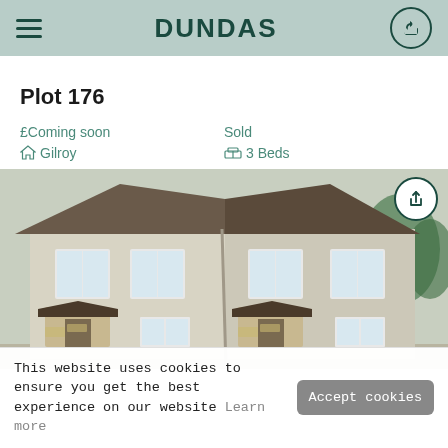DUNDAS
Plot 176
£Coming soon  Sold
Gilroy  3 Beds
[Figure (photo): Exterior rendering of a semi-detached house with beige/cream render, dark roof tiles, and bay windows]
This website uses cookies to ensure you get the best experience on our website  Learn more  Accept cookies